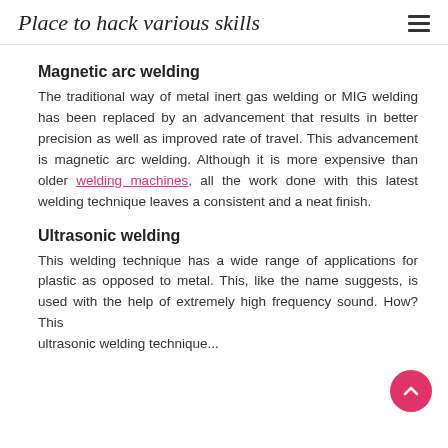Place to hack various skills
Magnetic arc welding
The traditional way of metal inert gas welding or MIG welding has been replaced by an advancement that results in better precision as well as improved rate of travel. This advancement is magnetic arc welding. Although it is more expensive than older welding machines, all the work done with this latest welding technique leaves a consistent and a neat finish.
Ultrasonic welding
This welding technique has a wide range of applications for plastic as opposed to metal. This, like the name suggests, is used with the help of extremely high frequency sound. How? This ultrasonic welding technique...